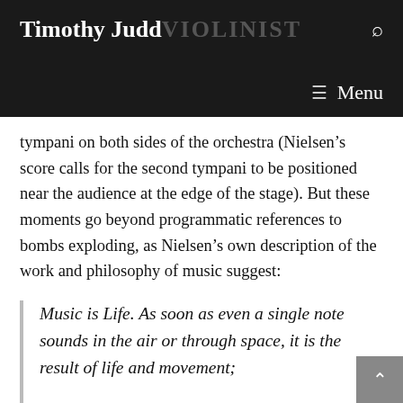Timothy Judd VIOLINIST — Menu
tympani on both sides of the orchestra (Nielsen's score calls for the second tympani to be positioned near the audience at the edge of the stage). But these moments go beyond programmatic references to bombs exploding, as Nielsen's own description of the work and philosophy of music suggest:
Music is Life. As soon as even a single note sounds in the air or through space, it is the result of life and movement;